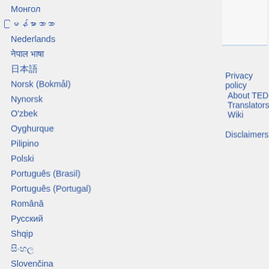Монгол
မြန်မာဘာသာ
Nederlands
नेपाल भाषा
日本語
Norsk (Bokmål)
Nynorsk
O'zbek
Oyghurque
Pilipino
Polski
Português (Brasil)
Português (Portugal)
Română
Русский
Shqip
සිංහල
Slovenčina
Slovenščina
Soomaaliga
Српски / Srpski
Suomi
Svenska
Privacy policy   About TED Translators Wiki
Disclaimers